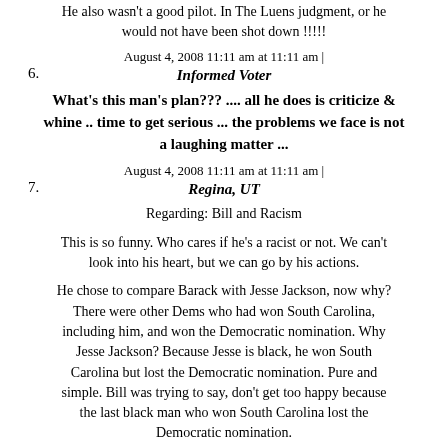He also wasn't a good pilot. In The Luens judgment, or he would not have been shot down !!!!!
August 4, 2008 11:11 am at 11:11 am |
6. Informed Voter
What's this man's plan??? .... all he does is criticize & whine .. time to get serious ... the problems we face is not a laughing matter ...
August 4, 2008 11:11 am at 11:11 am |
7. Regina, UT
Regarding: Bill and Racism
This is so funny. Who cares if he's a racist or not. We can't look into his heart, but we can go by his actions.
He chose to compare Barack with Jesse Jackson, now why? There were other Dems who had won South Carolina, including him, and won the Democratic nomination. Why Jesse Jackson? Because Jesse is black, he won South Carolina but lost the Democratic nomination. Pure and simple. Bill was trying to say, don't get too happy because the last black man who won South Carolina lost the Democratic nomination.